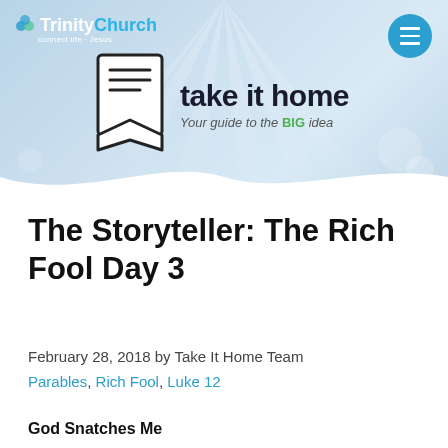[Figure (illustration): Trinity Church website header banner with light blue gradient background, Trinity Church logo top left, hamburger menu button top right, and 'take it home' logo (bookmark icon with text) centered. Subtitle reads 'Your guide to the BIG idea'.]
The Storyteller: The Rich Fool Day 3
February 28, 2018 by Take It Home Team
Parables, Rich Fool, Luke 12
God Snatches Me